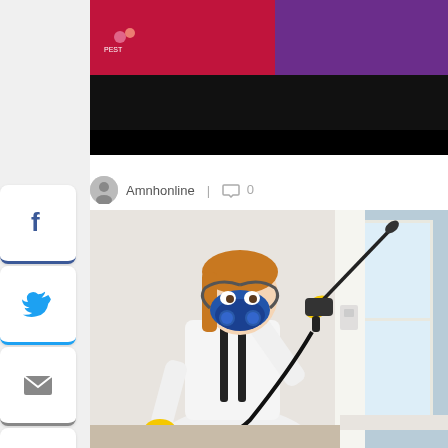[Figure (screenshot): Top banner with red and purple sections on left and right, with black bar below. Appears to be a website header/logo area.]
Amnhonline | 0
[Figure (photo): A woman wearing a white protective suit, blue respirator mask, and yellow gloves, spraying pesticide near a window with a wand sprayer. Indoor pest control scene.]
[Figure (infographic): Social media sharing sidebar with Facebook, Twitter, email, Pinterest, LinkedIn, and Reddit buttons on the left side of the page.]